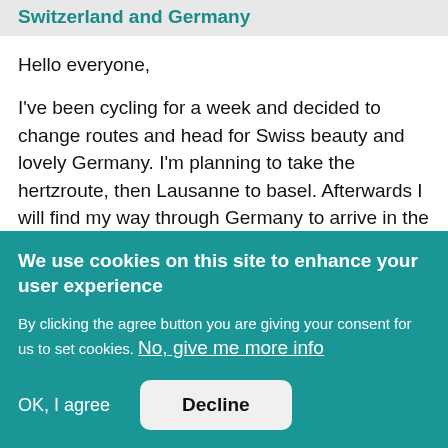Switzerland and Germany
Hello everyone,
I've been cycling for a week and decided to change routes and head for Swiss beauty and lovely Germany. I'm planning to take the hertzroute, then Lausanne to basel. Afterwards I will find my way through Germany to arrive in the Netherlands.
If you can host it would be greatly
We use cookies on this site to enhance your user experience
By clicking the agree button you are giving your consent for us to set cookies. No, give me more info
OK, I agree
Decline